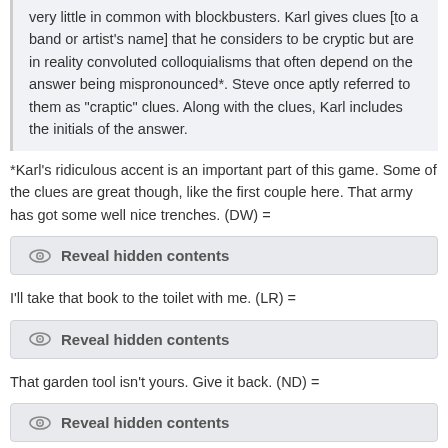very little in common with blockbusters. Karl gives clues [to a band or artist's name] that he considers to be cryptic but are in reality convoluted colloquialisms that often depend on the answer being mispronounced*. Steve once aptly referred to them as "craptic" clues. Along with the clues, Karl includes the initials of the answer.
*Karl's ridiculous accent is an important part of this game. Some of the clues are great though, like the first couple here. That army has got some well nice trenches. (DW) =
Reveal hidden contents
I'll take that book to the toilet with me. (LR) =
Reveal hidden contents
That garden tool isn't yours. Give it back. (ND) =
Reveal hidden contents
At the moment I'm in a river full of logs. (JT) =